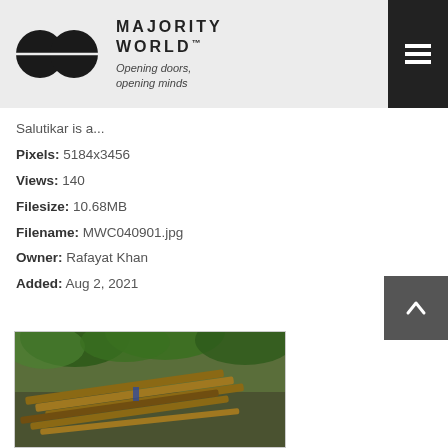MAJORITY WORLD™ — Opening doors, opening minds
Salutikar is a...
Pixels: 5184x3456
Views: 140
Filesize: 10.68MB
Filename: MWC040901.jpg
Owner: Rafayat Khan
Added: Aug 2, 2021
[Figure (photo): Wooden boats moored along a riverbank viewed through green tree foliage overhead]